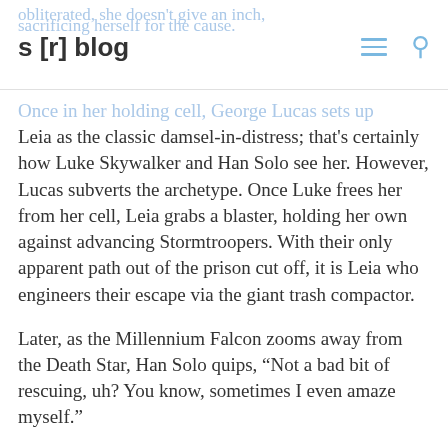s [r] blog
obliterated, she doesn't give an inch, sacrificing herself for the cause.
Once in her holding cell, George Lucas sets up Leia as the classic damsel-in-distress; that's certainly how Luke Skywalker and Han Solo see her.  However, Lucas subverts the archetype.  Once Luke frees her from her cell, Leia grabs a blaster, holding her own against advancing Stormtroopers.  With their only apparent path out of the prison cut off, it is Leia who engineers their escape via the giant trash compactor.
Later, as the Millennium Falcon zooms away from the Death Star, Han Solo quips, “Not a bad bit of rescuing, uh?  You know, sometimes I even amaze myself.”
“That doesn’t sound too hard,” Leia jabs back.